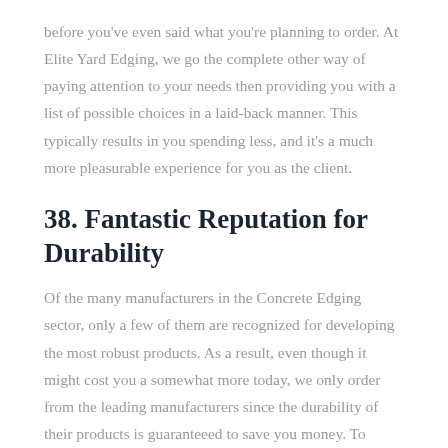before you've even said what you're planning to order. At Elite Yard Edging, we go the complete other way of paying attention to your needs then providing you with a list of possible choices in a laid-back manner. This typically results in you spending less, and it's a much more pleasurable experience for you as the client.
38. Fantastic Reputation for Durability
Of the many manufacturers in the Concrete Edging sector, only a few of them are recognized for developing the most robust products. As a result, even though it might cost you a somewhat more today, we only order from the leading manufacturers since the durability of their products is guaranteeed to save you money. To discover the process we use when figuring